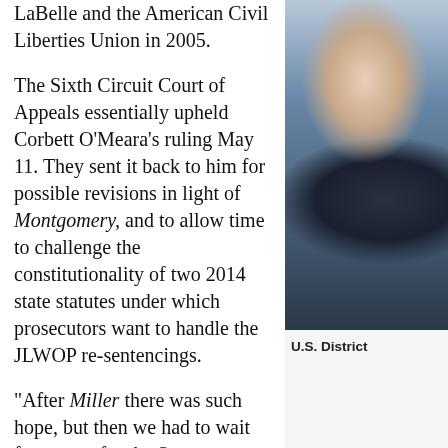LaBelle and the American Civil Liberties Union in 2005.
[Figure (photo): Photo of a person in dark jacket, partially visible, cropped at right side of page]
The Sixth Circuit Court of Appeals essentially upheld Corbett O'Meara's ruling May 11. They sent it back to him for possible revisions in light of Montgomery, and to allow time to challenge the constitutionality of two 2014 state statutes under which prosecutors want to handle the JLWOP re-sentencings.
U.S. District
"After Miller there was such hope, but then we had to wait four years for the Supreme Court to rule in Montgomery v. Louisiana that Miller was retroactive," LaBelle said. Her co-counsel were Daniel Korobkin of the American Civil Liberties Union in Michigan, and Ron Reosti. The National ACLU is also a signatory to the c